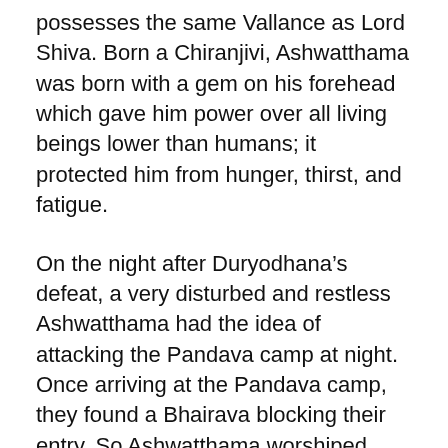possesses the same Vallance as Lord Shiva. Born a Chiranjivi, Ashwatthama was born with a gem on his forehead which gave him power over all living beings lower than humans; it protected him from hunger, thirst, and fatigue.
On the night after Duryodhana’s defeat, a very disturbed and restless Ashwatthama had the idea of attacking the Pandava camp at night. Once arriving at the Pandava camp, they found a Bhairava blocking their entry. So Ashwatthama worshiped Lord Shiva to fulfill his desires, offering himself as an oblation and pleased Shiva and Parvati. Ashwatthama first kicked and woke up Dhrishtadyumna, the commander of the Pandava army and the killer of his father Drona, and strangled him. At this